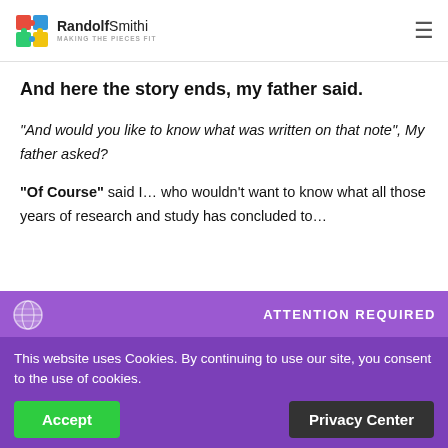RandolfSmithi MAKING THE PIECES FIT
And here the story ends, my father said.
“And would you like to know what was written on that note”, My father asked?
“Of Course” said I… who wouldn’t want to know what all those years of research and study has concluded to…
ATTENTION REQUIRED
This website uses Cookies. By continuing to use our site, you consent to the use of cookies.
Accept  Privacy Center